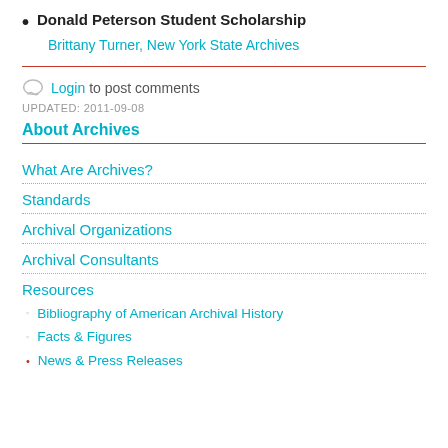Donald Peterson Student Scholarship
Brittany Turner, New York State Archives
Login to post comments
UPDATED: 2011-09-08
About Archives
What Are Archives?
Standards
Archival Organizations
Archival Consultants
Resources
Bibliography of American Archival History
Facts & Figures
News & Press Releases